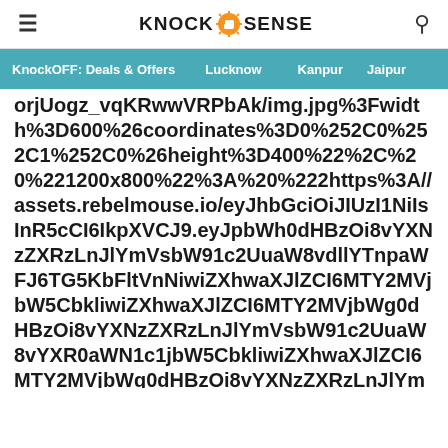KnockSense - hamburger menu and search icon
KnockOFF: Deals & Offers  Lucknow  Kanpur  Jaipur
orjUogz_vqKRwwVRPbAk/img.jpg%3Fwidth%3D600%26coordinates%3D0%252C0%252C1%252C0%26height%3D400%22%2C%20%221200x800%22%3A%20%22https%3A//assets.rebelmouse.io/eyJhbGciOiJIUzI1NiIsInR5cCI6IkpXVCJ9.eyJpbWh0dHBzOi8vYXNzZXRzLnJlYmVsbW91c2UuaW9cbBniwiZXhwaXJlZCI6MTY2MTY5hdCI6MTY2MTY5Mzc19hdCI6MTY2MTY5N30.y_sFkf_Qf844nmvWzpBW2itorjUogz_vqKRwwVRPbAk/img.jpg%3Fwidth%3D1200%26coordinates%3D0%252C0%252C1%252C0%26height%3D800%22%2C%20%222600x300%22%3A%20%22https%3A//assets.rebelmouse.io/eyJhbGciOiJIUzI1NiIsInR5cCI6IkpXVCJ9.eyJpbWh0dHBzOi8vYXNzZXRzLnJlYmVsbW91c2UuaW9cbBniwiZXhwaXJlZCI6MTY2MVjbWg0dHBzOi8vYXNzZXRzLnJlYmVsbW91c2UuaW8vZXlKaGJHY2lPaUpJVXpJMU5pSXNJblI1Y0NJNklrcFhWQ0o5LmV5SnBiV0ZuWlNJNkltaDBkSEJ6T2k4dllYTnpaWFJ6TG5KbFltVnNi